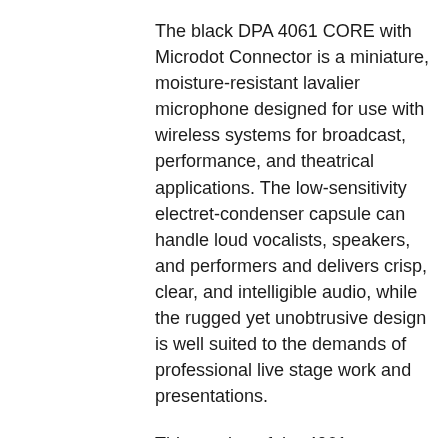The black DPA 4061 CORE with Microdot Connector is a miniature, moisture-resistant lavalier microphone designed for use with wireless systems for broadcast, performance, and theatrical applications. The low-sensitivity electret-condenser capsule can handle loud vocalists, speakers, and performers and delivers crisp, clear, and intelligible audio, while the rugged yet unobtrusive design is well suited to the demands of professional live stage work and presentations.
This version of the 4061 uses DPA's CORE technology to deliver a 4 dB increase in dynamic range and a 14 dB reduction in noise over¬†the 4061 Legacy model.¬†The mic includes two interchangeable capsule-protection grids that alter the sonic character of the microphone. The High-